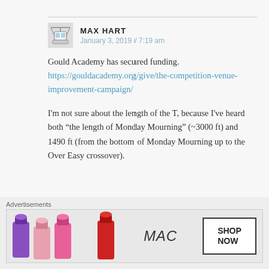MAX HART
January 3, 2019 / 7:19 am
Gould Academy has secured funding.
https://gouldacademy.org/give/the-competition-venue-improvement-campaign/
I'm not sure about the length of the T, because I've heard both “the length of Monday Mourning” (~3000 ft) and 1490 ft (from the bottom of Monday Mourning up to the Over Easy crossover).
★ Liked by 1 person
Advertisements
[Figure (photo): Advertisement banner for MAC cosmetics showing lipsticks in purple, pink, and red shades alongside a SHOP NOW button and MAC logo]